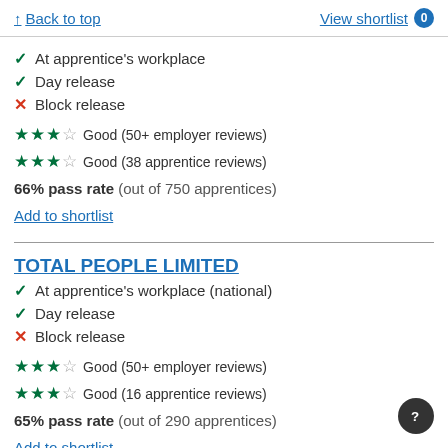↑ Back to top   View shortlist 0
✓ At apprentice's workplace
✓ Day release
✗ Block release
★★★☆ Good (50+ employer reviews)
★★★☆ Good (38 apprentice reviews)
66% pass rate (out of 750 apprentices)
Add to shortlist
TOTAL PEOPLE LIMITED
✓ At apprentice's workplace (national)
✓ Day release
✗ Block release
★★★☆ Good (50+ employer reviews)
★★★☆ Good (16 apprentice reviews)
65% pass rate (out of 290 apprentices)
Add to shortlist